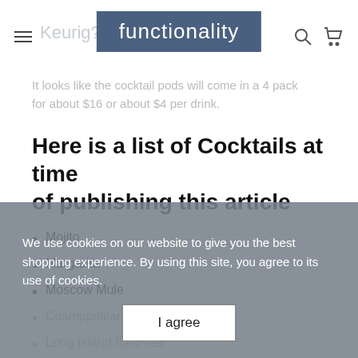functionality
It looks like the cocktail pods will come in a 4 pack for about $16 or about $4 per drink.
Here is a list of Cocktails at time of publishing this article
Mojito
Margarita
Moscow Mule
Cosmopolitan
Long Island Iced Tea
Old Fashioned
Mai Tai
Strawberry Margarita
Red Sangria
Cuban Daiquiri
We use cookies on our website to give you the best shopping experience. By using this site, you agree to its use of cookies.